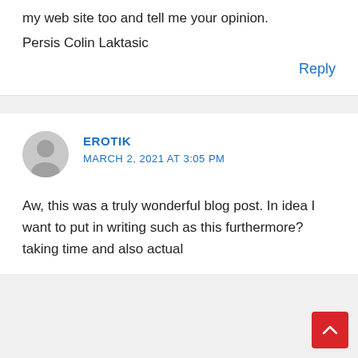my web site too and tell me your opinion.
Persis Colin Laktasic
Reply
EROTIK
MARCH 2, 2021 AT 3:05 PM
Aw, this was a truly wonderful blog post. In idea I want to put in writing such as this furthermore? taking time and also actual